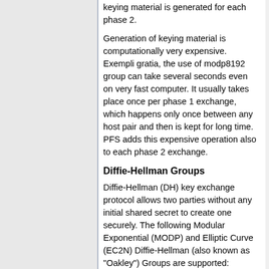keying material is generated for each phase 2.
Generation of keying material is computationally very expensive. Exempli gratia, the use of modp8192 group can take several seconds even on very fast computer. It usually takes place once per phase 1 exchange, which happens only once between any host pair and then is kept for long time. PFS adds this expensive operation also to each phase 2 exchange.
Diffie-Hellman Groups
Diffie-Hellman (DH) key exchange protocol allows two parties without any initial shared secret to create one securely. The following Modular Exponential (MODP) and Elliptic Curve (EC2N) Diffie-Hellman (also known as "Oakley") Groups are supported:
| Diffie-Hellman Group | Name | Reference |
| --- | --- | --- |